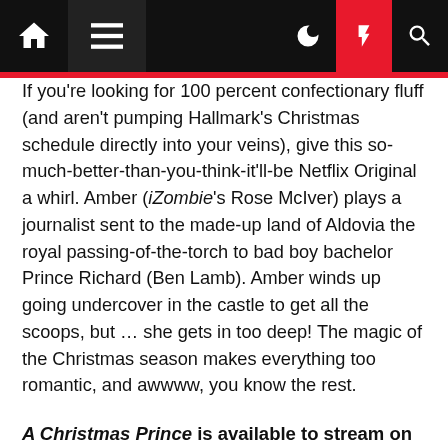Navigation bar with home, menu, dark mode, lightning/trending, and search icons
If you're looking for 100 percent confectionary fluff (and aren't pumping Hallmark's Christmas schedule directly into your veins), give this so-much-better-than-you-think-it'll-be Netflix Original a whirl. Amber (iZombie's Rose McIver) plays a journalist sent to the made-up land of Aldovia the royal passing-of-the-torch to bad boy bachelor Prince Richard (Ben Lamb). Amber winds up going undercover in the castle to get all the scoops, but … she gets in too deep! The magic of the Christmas season makes everything too romantic, and awwww, you know the rest.
A Christmas Prince is available to stream on Netflix.
Batman Returns